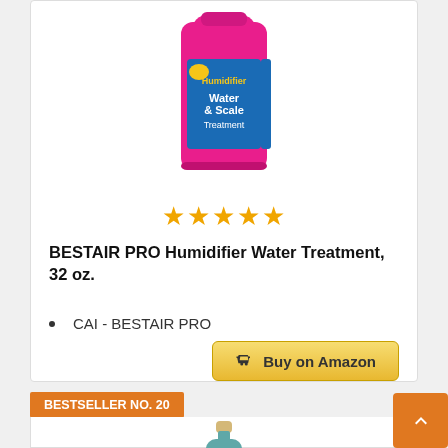[Figure (photo): Pink bottle of BESTAIR PRO Humidifier Water & Scale Treatment, 32 oz.]
[Figure (other): Five gold star rating icons]
BESTAIR PRO Humidifier Water Treatment, 32 oz.
CAI - BESTAIR PRO
[Figure (other): Buy on Amazon button with cart icon]
BESTSELLER NO. 20
[Figure (photo): Teal/blue bottle of a humidifier product, partially visible at bottom of page]